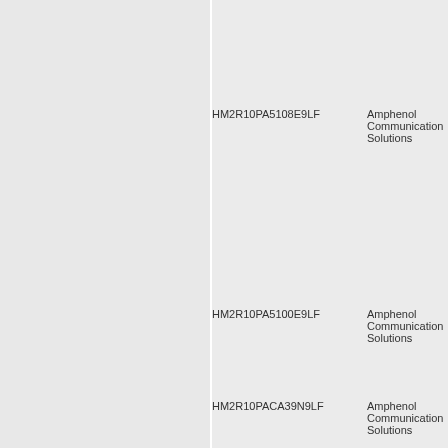HM2R10PA5108E9LF
Amphenol Communication Solutions
HM2R10PA5100E9LF
Amphenol Communication Solutions
HM2R10PACA39N9LF
Amphenol Communication Solutions